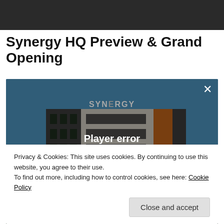[Figure (screenshot): Dark banner image at top of page, showing a partial screenshot of a dimmed background]
Synergy HQ Preview & Grand Opening
[Figure (screenshot): Video player showing Synergy HQ building exterior with player error overlay. Close (X) button in top right. Text overlay: 'Player error' and 'The player is having trouble. We'll have it back up and running as soon as possible.']
Privacy & Cookies: This site uses cookies. By continuing to use this website, you agree to their use.
To find out more, including how to control cookies, see here: Cookie Policy
Close and accept